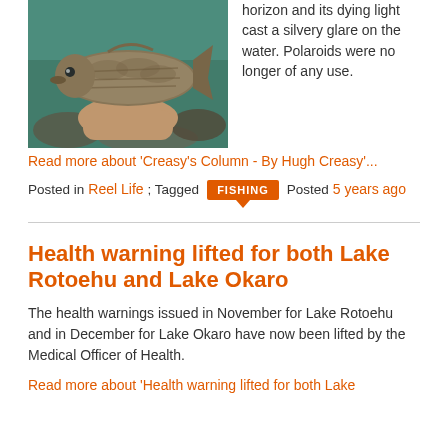[Figure (photo): Close-up photo of a fish (trout or similar) being held by a person's hand, with water visible in the background.]
horizon and its dying light cast a silvery glare on the water. Polaroids were no longer of any use.
Read more about 'Creasy's Column - By Hugh Creasy'...
Posted in Reel Life; Tagged FISHING Posted 5 years ago
Health warning lifted for both Lake Rotoehu and Lake Okaro
The health warnings issued in November for Lake Rotoehu and in December for Lake Okaro have now been lifted by the Medical Officer of Health.
Read more about 'Health warning lifted for both Lake